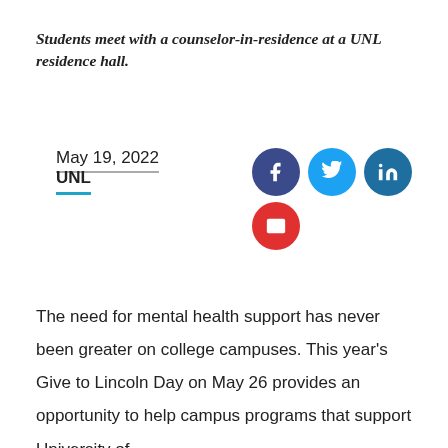Students meet with a counselor-in-residence at a UNL residence hall.
May 19, 2022
UNL
[Figure (infographic): Social sharing icons: Facebook (dark blue circle), Twitter (light blue circle), LinkedIn (blue circle), Email (red circle)]
The need for mental health support has never been greater on college campuses. This year's Give to Lincoln Day on May 26 provides an opportunity to help campus programs that support University of Nebraska…